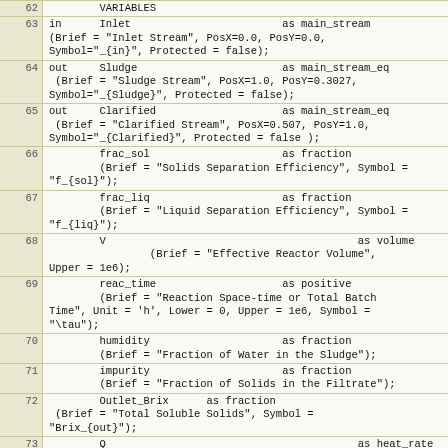| line | code |
| --- | --- |
| 62 |         VARIABLES |
| 63 | in      Inlet                        as main_stream
(Brief = "Inlet Stream", PosX=0.0, PosY=0.0,
Symbol="_{in}", Protected = false); |
| 64 | out     Sludge                       as main_stream_eq
 (Brief = "Sludge Stream", PosX=1.0, PosY=0.3027,
Symbol="_{Sludge}", Protected = false); |
| 65 | out     Clarified                    as main_stream_eq
 (Brief = "Clarified Stream", PosX=0.507, PosY=1.0,
Symbol="_{Clarified}", Protected = false ); |
| 66 |         frac_sol                     as fraction
        (Brief = "Solids Separation Efficiency", Symbol =
"f_{sol}"); |
| 67 |         frac_liq                     as fraction
        (Brief = "Liquid Separation Efficiency", Symbol =
"f_{liq}"); |
| 68 |         V                                        as volume
                (Brief = "Effective Reactor Volume",
Upper = 1e6); |
| 69 |         reac_time                    as positive
        (Brief = "Reaction Space-time or Total Batch
Time", Unit = 'h', Lower = 0, Upper = 1e6, Symbol =
"\tau"); |
| 70 |         humidity                     as fraction
        (Brief = "Fraction of Water in the Sludge"); |
| 71 |         impurity                     as fraction
        (Brief = "Fraction of Solids in the Filtrate"); |
| 72 |         Outlet_Brix      as fraction
 (Brief = "Total Soluble Solids", Symbol =
"Brix_{out}"); |
| 73 |         Q                                        as heat_rate
        (Brief = "Heat Lost"); |
| 74 |  |
| 75 |         SET |
| 76 |         Sludge.Phase = "Liquid"; |
| 77 |  |